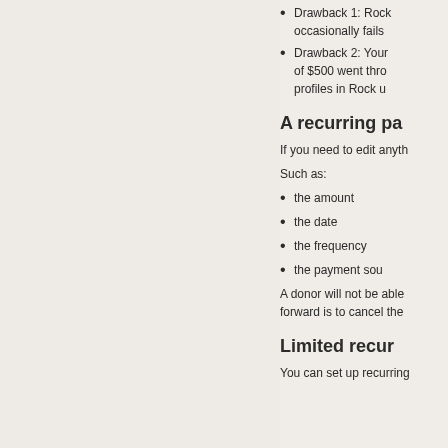Drawback 1: Rock occasionally fails
Drawback 2: Your of $500 went thro profiles in Rock u
A recurring pa
If you need to edit anyth
Such as:
the amount
the date
the frequency
the payment sou
A donor will not be able forward is to cancel the
Limited recur
You can set up recurring